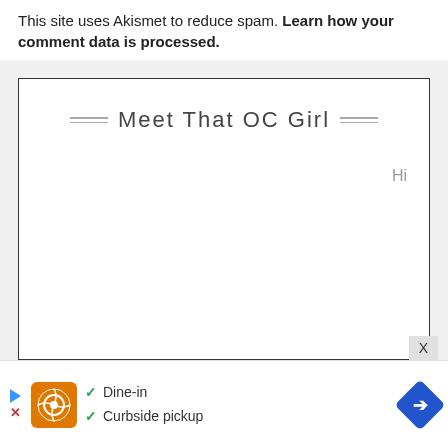This site uses Akismet to reduce spam. Learn how your comment data is processed.
[Figure (screenshot): A website widget box with title 'Meet That OC Girl' in handwriting-style font, with decorative double-line separators on each side, and 'Hi' text in the upper right corner of the box.]
[Figure (screenshot): Ad bar at the bottom with a play button icon, orange logo, green checkmarks for 'Dine-in' and 'Curbside pickup', and a blue diamond navigation arrow.]